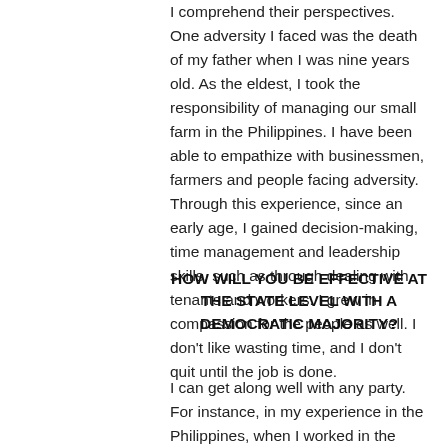I comprehend their perspectives. One adversity I faced was the death of my father when I was nine years old. As the eldest, I took the responsibility of managing our small farm in the Philippines. I have been able to empathize with businessmen, farmers and people facing adversity. Through this experience, since an early age, I gained decision-making, time management and leadership skills, such as through dealing with tenants and workers. I grew in compassion for the people as well. I don't like wasting time, and I don't quit until the job is done.
HOW WILL YOU BE EFFECTIVE AT THE STATE LEVEL WITH A DEMOCRATIC MAJORITY?
I can get along well with any party. For instance, in my experience in the Philippines, when I worked in the Office of the Executive Secretary of the President of the Philippines, I invited